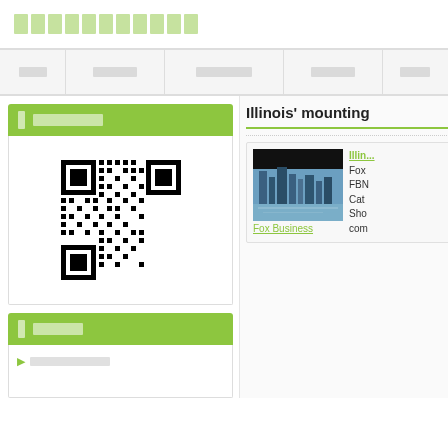█████████████
| ███ | ██████ | █████████ | ██████ | ████ |
| --- | --- | --- | --- | --- |
|  |
████████
[Figure (other): QR code]
█████
██████████
Illinois' mounting
[Figure (photo): Chicago skyline photo with Fox Business label below]
Illin...
Fox
FBN
Cat
Sho
com